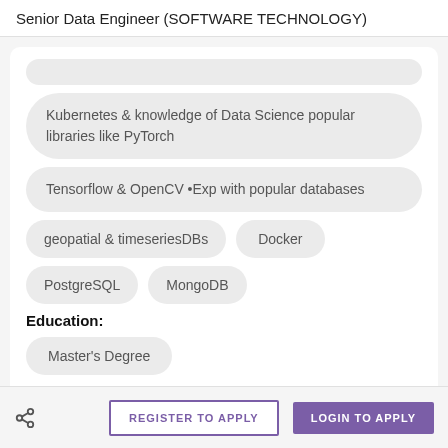Senior Data Engineer (SOFTWARE TECHNOLOGY)
Kubernetes & knowledge of Data Science popular libraries like PyTorch
Tensorflow & OpenCV •Exp with popular databases
geopatial & timeseriesDBs
Docker
PostgreSQL
MongoDB
Education:
Master's Degree